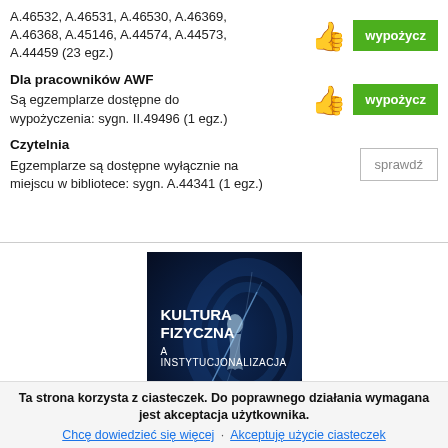A.46532, A.46531, A.46530, A.46369, A.46368, A.45146, A.44574, A.44573, A.44459 (23 egz.)
Dla pracowników AWF
Są egzemplarze dostępne do wypożyczenia: sygn. II.49496 (1 egz.)
Czytelnia
Egzemplarze są dostępne wyłącznie na miejscu w bibliotece: sygn. A.44341 (1 egz.)
[Figure (illustration): Book cover: dark blue background with digital swirl graphics, title 'KULTURA FIZYCZNA A INSTYTUCJONALIZACJA' in white bold text]
Ta strona korzysta z ciasteczek. Do poprawnego działania wymagana jest akceptacja użytkownika.
Chcę dowiedzieć się więcej · Akceptuję użycie ciasteczek